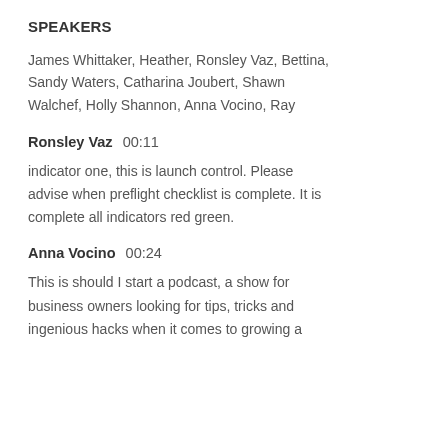SPEAKERS
James Whittaker, Heather, Ronsley Vaz, Bettina, Sandy Waters, Catharina Joubert, Shawn Walchef, Holly Shannon, Anna Vocino, Ray
Ronsley Vaz  00:11
indicator one, this is launch control. Please advise when preflight checklist is complete. It is complete all indicators red green.
Anna Vocino  00:24
This is should I start a podcast, a show for business owners looking for tips, tricks and ingenious hacks when it comes to growing a